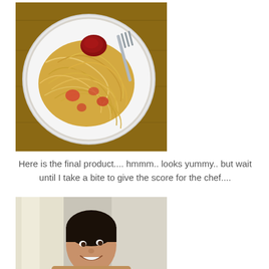[Figure (photo): Overhead view of a plate of spaghetti with tomato sauce and a dollop of ketchup, with a fork resting on the plate, on a wooden table.]
Here is the final product.... hmmm.. looks yummy.. but wait until I take a bite to give the score for the chef....
[Figure (photo): A person smiling, photographed from below, with a light background.]